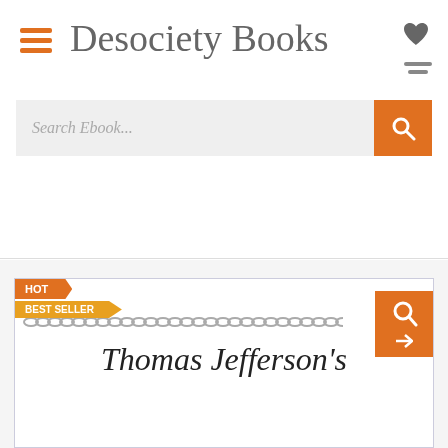Desociety Books
Search Ebook...
[Figure (screenshot): Book card with HOT BEST SELLER badge, chain bar, orange book icon button, and cursive title text starting 'Thomas Jefferson's']